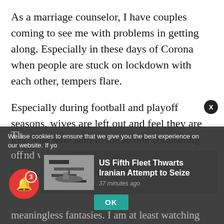As a marriage counselor, I have couples coming to see me with problems in getting along. Especially in these days of Corona when people are stuck on lockdown with each other, tempers flare.
Especially during football and playoff seasons, wives are left out and feel they are lost. The wife said to me in one counseling session: “My husband is only interested in sports teams. That’s all he wants to do each night.”
We use cookies to ensure that we give you the best experience on our website. If yo...
[Figure (screenshot): News card showing thumbnail image and headline: US Fifth Fleet Thwarts Iranian Attempt to Seize, 37 minutes ago]
meaningless fantasies. I am at least watching